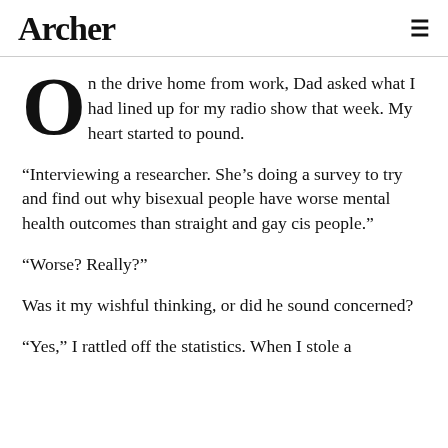Archer
On the drive home from work, Dad asked what I had lined up for my radio show that week. My heart started to pound.
“Interviewing a researcher. She’s doing a survey to try and find out why bisexual people have worse mental health outcomes than straight and gay cis people.”
“Worse? Really?”
Was it my wishful thinking, or did he sound concerned?
“Yes,” I rattled off the statistics. When I stole a